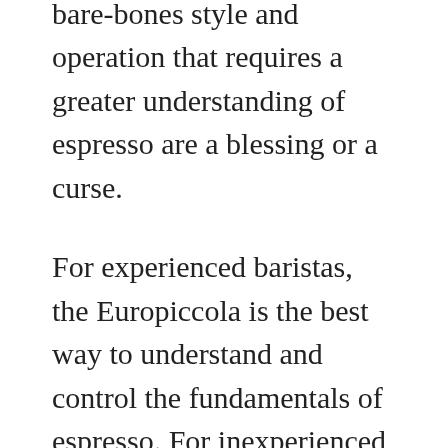the brewing process, and the bare-bones style and operation that requires a greater understanding of espresso are a blessing or a curse.
For experienced baristas, the Europiccola is the best way to understand and control the fundamentals of espresso. For inexperienced coffee lovers, a practically manual machine is daunting. For many, it's more work than they bargained for.
There's no PID control or pre-infusion setup, or any feature to streamline the process for you. This traditional machine is simple to learn but